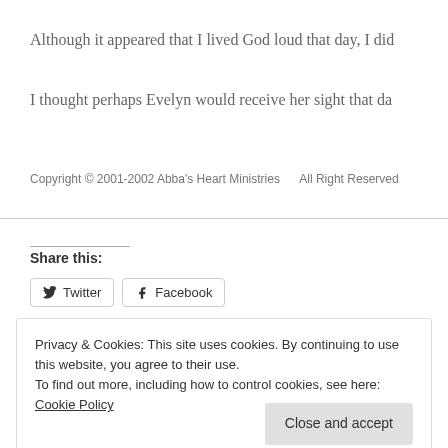Although it appeared that I lived God loud that day, I did
I thought perhaps Evelyn would receive her sight that da
Copyright © 2001-2002 Abba's Heart Ministries    All Right Reserved
Share this:
Twitter  Facebook
Privacy & Cookies: This site uses cookies. By continuing to use this website, you agree to their use.
To find out more, including how to control cookies, see here: Cookie Policy